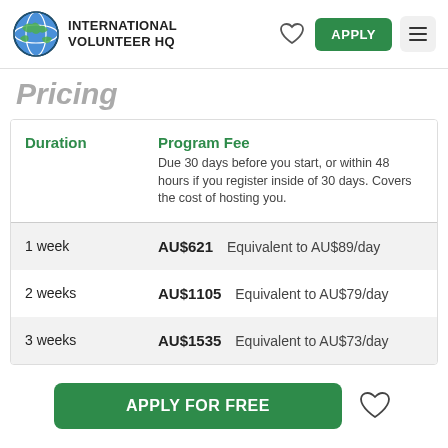INTERNATIONAL VOLUNTEER HQ
Pricing
| Duration | Program Fee |
| --- | --- |
| 1 week | AU$621 | Equivalent to AU$89/day |
| 2 weeks | AU$1105 | Equivalent to AU$79/day |
| 3 weeks | AU$1535 | Equivalent to AU$73/day |
APPLY FOR FREE